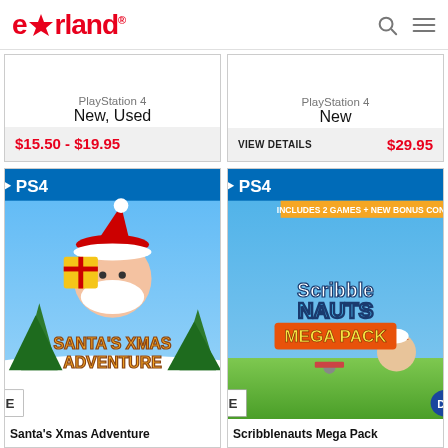eStarland
PlayStation 4
New, Used
$15.50 - $19.95
PlayStation 4
New
VIEW DETAILS $29.95
[Figure (screenshot): Santa's Xmas Adventure PS4 game cover art showing Santa Claus with a gift box on a winter snowy scene with Christmas trees]
Santa's Xmas Adventure
[Figure (screenshot): Scribblenauts Mega Pack PS4 game cover art showing cartoon characters including Maxwell in various adventure scenes, includes 2 games + new bonus content]
Scribblenauts Mega Pack